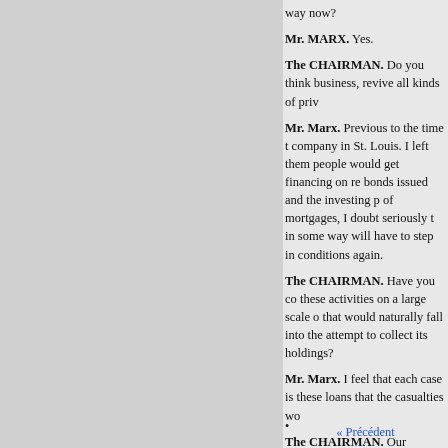way now?
Mr. MARX. Yes.
The CHAIRMAN. Do you think business, revive all kinds of priv
Mr. Marx. Previous to the time t company in St. Louis. I left them people would get financing on re bonds issued and the investing p of mortgages, I doubt seriously t in some way will have to step in conditions again.
The CHAIRMAN. Have you co these activities on a large scale o that would naturally fall into the attempt to collect its holdings?
Mr. Marx. I feel that each case is these loans that the casualties wo
The CHAIRMAN. Our experien
« Précédent